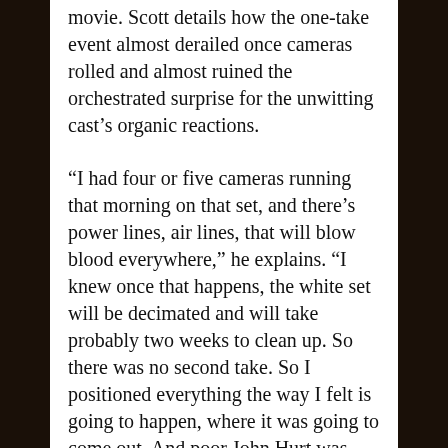movie. Scott details how the one-take event almost derailed once cameras rolled and almost ruined the orchestrated surprise for the unwitting cast's organic reactions.
“I had four or five cameras running that morning on that set, and there’s power lines, air lines, that will blow blood everywhere,” he explains. “I knew once that happens, the white set will be decimated and will take probably two weeks to clean up. So there was no second take. So I positioned everything the way I felt is going to happen, where it was going to come out. And poor John Hurt was lying strapped down on the table under an artificial chest. And we shot and I honestly had to cross my fingers.”
Scott yelled, “Action!” — and quickly realized something was terribly wrong.